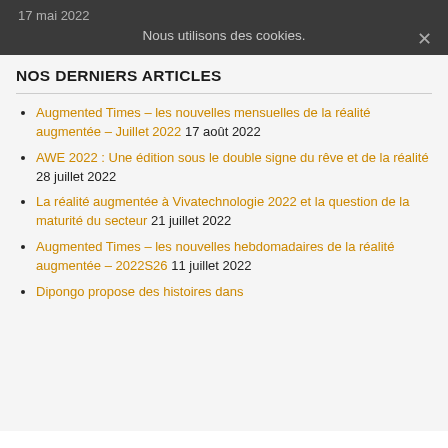17 mai 2022
Nous utilisons des cookies.
NOS DERNIERS ARTICLES
Augmented Times – les nouvelles mensuelles de la réalité augmentée – Juillet 2022 17 août 2022
AWE 2022 : Une édition sous le double signe du rêve et de la réalité 28 juillet 2022
La réalité augmentée à Vivatechnologie 2022 et la question de la maturité du secteur 21 juillet 2022
Augmented Times – les nouvelles hebdomadaires de la réalité augmentée – 2022S26 11 juillet 2022
Dipongo propose des histoires dans